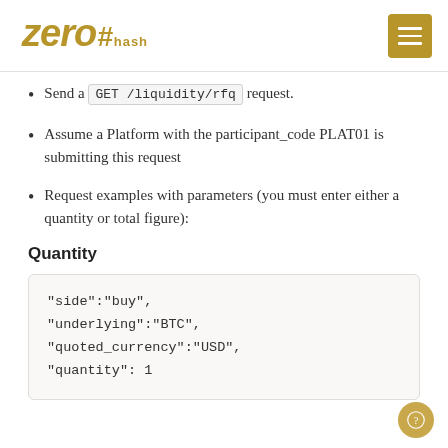zero#hash
Send a GET /liquidity/rfq request.
Assume a Platform with the participant_code PLAT01 is submitting this request
Request examples with parameters (you must enter either a quantity or total figure):
Quantity
"side":"buy",
"underlying":"BTC",
"quoted_currency":"USD",
"quantity": 1